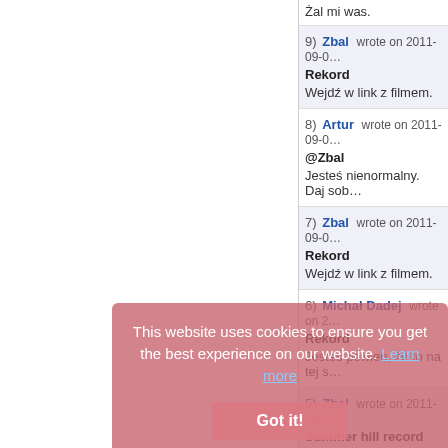Żal mi was.
9) Zbal wrote on 2011-09-0...
Rekord
Wejdź w link z filmem.
8) Artur wrote on 2011-09-0...
@Zbal
Jesteś nienormalny. Daj sob...
7) Zbal wrote on 2011-09-0...
Rekord
Wejdź w link z filmem.
6) Michał Dadej wrote on 2...
Rekord
Jesteś pewien, że to na tej s...
5) Zbal wrote on 2011-09-0...
Summer hill record
Summer hill record: 143,0 m...
http://www.youtube.com/us...
4) Karol P. wrote on 2011-0...
This website uses cookies to ensure you get the best experience on our website. Learn more
Got it!